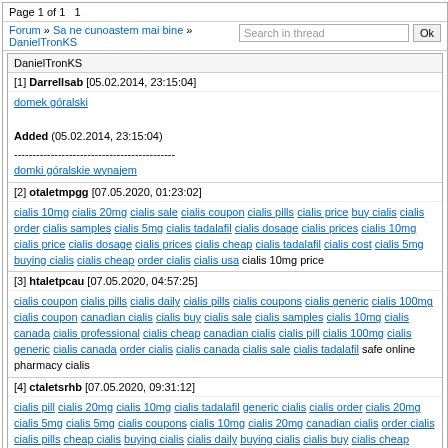Page 1 of 1   1
Forum » Sa ne cunoastem mai bine » DanielTronKS
DanielTronKS
[1] Darrellsab [05.02.2014, 23:15:04]
domek góralski
Added (05.02.2014, 23:15:04)
--------------------------------------------
domki góralskie wynajem
[2] otaletmpgg [07.05.2020, 01:23:02]
cialis 10mg cialis 20mg cialis sale cialis coupon cialis pills cialis price buy cialis cialis order cialis samples cialis 5mg cialis tadalafil cialis dosage cialis prices cialis 10mg cialis price cialis dosage cialis prices cialis cheap cialis tadalafil cialis cost cialis 5mg buying cialis cialis cheap order cialis cialis usa cialis 10mg price
[3] htaletpcau [07.05.2020, 04:57:25]
cialis coupon cialis pills cialis daily cialis pills cialis coupons cialis generic cialis 100mg cialis coupon canadian cialis cialis buy cialis sale cialis samples cialis 10mg cialis canada cialis professional cialis cheap canadian cialis cialis pill cialis 100mg cialis generic cialis canada order cialis cialis canada cialis sale cialis tadalafil safe online pharmacy cialis
[4] ctaletsrhb [07.05.2020, 09:31:12]
cialis pill cialis 20mg cialis 10mg cialis tadalafil generic cialis cialis order cialis 20mg cialis 5mg cialis 5mg cialis coupons cialis 10mg cialis 20mg canadian cialis order cialis cialis pills cheap cialis buying cialis cialis daily buying cialis cialis buy cialis cheap cialis cost cialis samples cialis order canadian cialis buy cialis online india
Page 1 of 1   1
Full website version